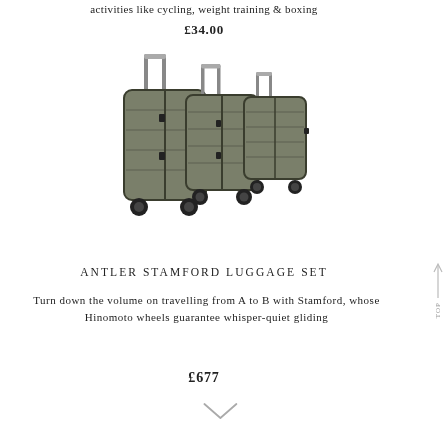activities like cycling, weight training & boxing
£34.00
[Figure (photo): Three olive/khaki green hardshell suitcases of different sizes (large, medium, small) with telescoping handles and spinner wheels, displayed as a set against white background]
ANTLER STAMFORD LUGGAGE SET
Turn down the volume on travelling from A to B with Stamford, whose Hinomoto wheels guarantee whisper-quiet gliding
£677